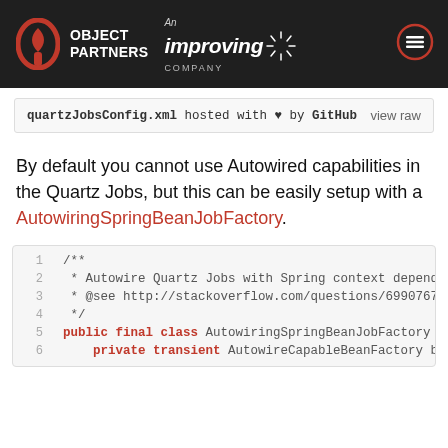OBJECT PARTNERS — An Improving Company
quartzJobsConfig.xml hosted with ♥ by GitHub   view raw
By default you cannot use Autowired capabilities in the Quartz Jobs, but this can be easily setup with a AutowiringSpringBeanJobFactory.
1  /**
2   * Autowire Quartz Jobs with Spring context depende
3   * @see http://stackoverflow.com/questions/6990767/
4   */
5  public final class AutowiringSpringBeanJobFactory e
6      private transient AutowireCapableBeanFactory be